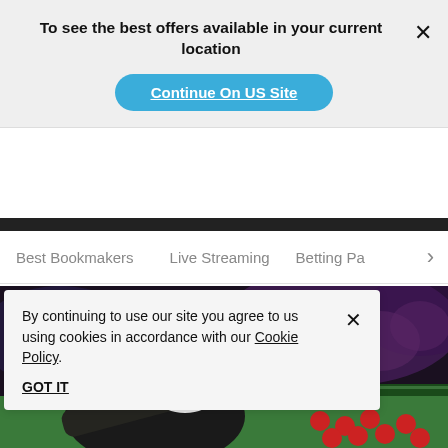To see the best offers available in your current location
Continue On US Site
Best Bookmakers
Live Streaming
Betting Pa
[Figure (photo): Snooker player with blonde hair leaning over a green snooker table about to take a shot, with red balls on the table and blurred audience in background]
By continuing to use our site you agree to us using cookies in accordance with our Cookie Policy.
GOT IT